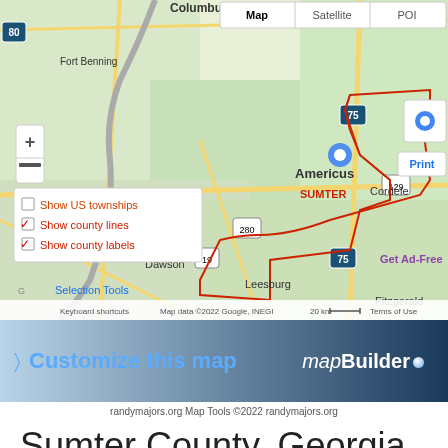[Figure (map): Google Map screenshot showing Sumter County, Georgia with Americus labeled and SUMTER county label in red. Map shows surrounding areas including Columbus, Fort Benning, Cordele, Dawson, Leesburg, Fitzgerald. County boundary highlighted in red. Map controls visible including zoom in/out, layer toggles (Show US townships, Show county lines, Show county labels), Map/Satellite/POI tabs, Print button. Google attribution, keyboard shortcuts, and scale bar visible. Blue location pin on Americus.]
[Figure (screenshot): Customize this map banner with mapBuilder branding in blue and white gradient]
randymajors.org Map Tools ©2022 randymajors.org
Sumter County, Georgia - Cities Map
View Google Maps with